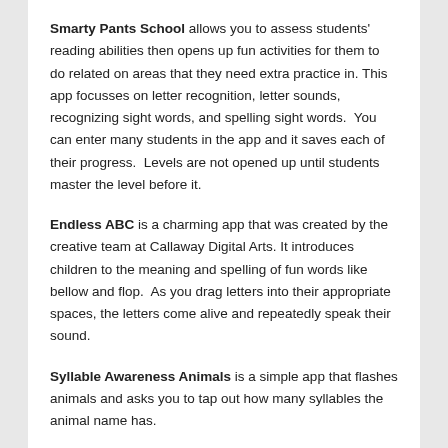Smarty Pants School allows you to assess students' reading abilities then opens up fun activities for them to do related on areas that they need extra practice in. This app focusses on letter recognition, letter sounds, recognizing sight words, and spelling sight words.  You can enter many students in the app and it saves each of their progress.  Levels are not opened up until students master the level before it.
Endless ABC is a charming app that was created by the creative team at Callaway Digital Arts. It introduces children to the meaning and spelling of fun words like bellow and flop.  As you drag letters into their appropriate spaces, the letters come alive and repeatedly speak their sound.
Syllable Awareness Animals is a simple app that flashes animals and asks you to tap out how many syllables the animal name has.
Word Wall HD...